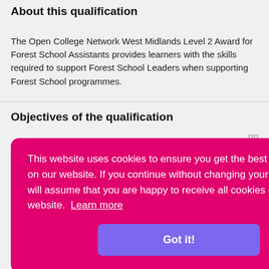About this qualification
The Open College Network West Midlands Level 2 Award for Forest School Assistants provides learners with the skills required to support Forest School Leaders when supporting Forest School programmes.
Objectives of the qualification
This website uses cookies to ensure you get the best experience on our website. If you continue without changing your settings, we will assume that you are happy to receive all cookies on our website. Learn more
Got it!